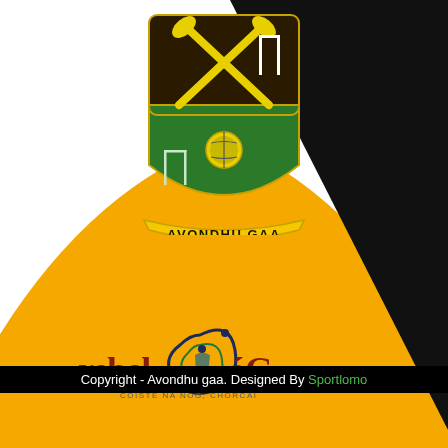[Figure (logo): Avondhu GAA crest/shield: dark brown top half with crossed gold hurling sticks and white goalposts, green bottom half with hurling ball and goal posts, yellow banner below reading AVONDHU GAA]
[Figure (logo): Rebel Og logo with stylized red text 'rebel' and 'og' with decorative Celtic-style swoosh graphic in dark blue/green, subtitle text 'COISTE NA NOG, CHORCAI']
Copyright - Avondhu gaa. Designed By Sportlomo